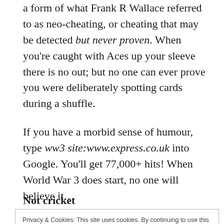a form of what Frank R Wallace referred to as neo-cheating, or cheating that may be detected but never proven. When you're caught with Aces up your sleeve there is no out; but no one can ever prove you were deliberately spotting cards during a shuffle.
If you have a morbid sense of humour, type ww3 site:www.express.co.uk into Google. You'll get 77,000+ hits! When World War 3 does start, no one will believe it...
Not cricket
Privacy & Cookies: This site uses cookies. By continuing to use this website, you agree to their use.
To find out more, including how to control cookies, see here: Cookie Policy
Close and accept
years ago. Their technique was a lesson in cognitive